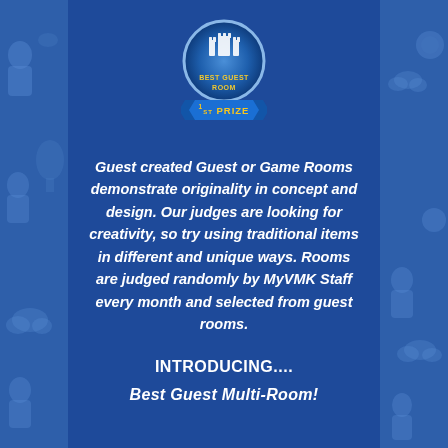[Figure (logo): Best Guest Room 1st Prize badge - circular blue badge with castle icon and yellow text reading BEST GUEST ROOM, with a blue ribbon banner below reading 1ST PRIZE in yellow]
Guest created Guest or Game Rooms demonstrate originality in concept and design. Our judges are looking for creativity, so try using traditional items in different and unique ways. Rooms are judged randomly by MyVMK Staff every month and selected from guest rooms.
INTRODUCING....
Best Guest Multi-Room!